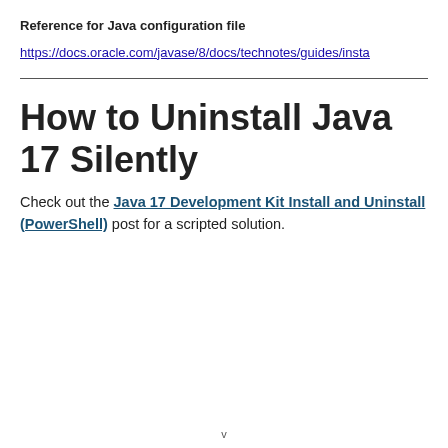Reference for Java configuration file
https://docs.oracle.com/javase/8/docs/technotes/guides/insta
How to Uninstall Java 17 Silently
Check out the Java 17 Development Kit Install and Uninstall (PowerShell) post for a scripted solution.
v